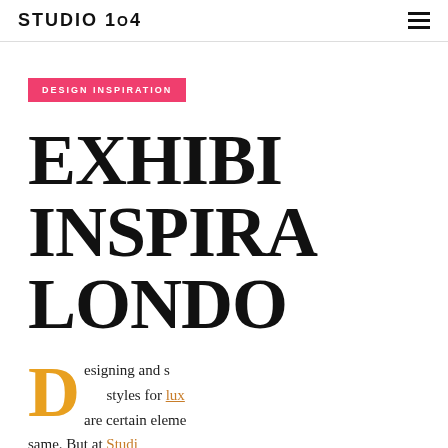STUDIO 1O4
DESIGN INSPIRATION
EXHIBI… INSPIRA… LONDO…
Designing and s… styles for lux… are certain eleme… same. But at Studi… exciting ideas for t… trips to some of Lo…